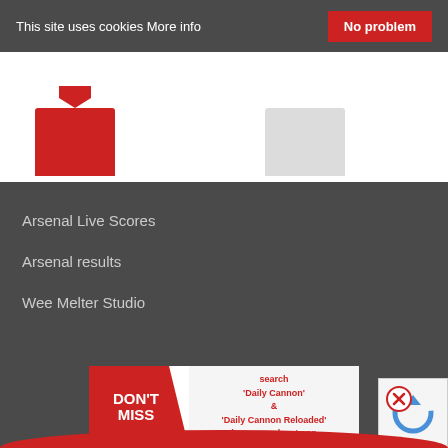This site uses cookies More info | No problem
[Figure (photo): Partial view of two football jerseys — a red Arsenal home jersey on the left and a white/grey away jersey on the right, shown on a white background.]
Arsenal Live Scores
Arsenal results
Wee Melter Studio
[Figure (infographic): Advertisement banner with 'DON'T MISS' on red diagonal left side, and text 'search "Daily Cannon" & "Daily Cannon Reloaded" in your podcast app' on the right side in red text.]
[Figure (other): CAPTCHA verification widget (reCAPTCHA) with a blue/dark circular arrow icon partially visible, and a red X close button overlapping.]